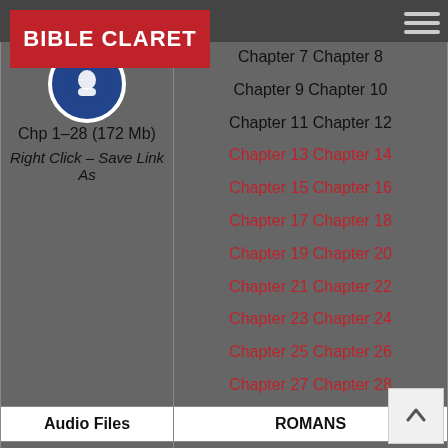BIBLE CLARET
| Audio Files | ACTS chapters |
| --- | --- |
| Chp 1-28 (172 Mb)
Right Click - Save Link As | Chapter 7 Chapter 8
Chapter 9 Chapter 10
Chapter 11 Chapter 12
Chapter 13 Chapter 14
Chapter 15 Chapter 16
Chapter 17 Chapter 18
Chapter 19 Chapter 20
Chapter 21 Chapter 22
Chapter 23 Chapter 24
Chapter 25 Chapter 26
Chapter 27 Chapter 28 |
| Audio Files | ROMANS |
| Download ROMANS Complete MP3 File | Chapter 1 Chapter 2
Chapter 3 Chapter 4
Chapter 5 Chapter 6
Chapter 7 Chapter 8 |